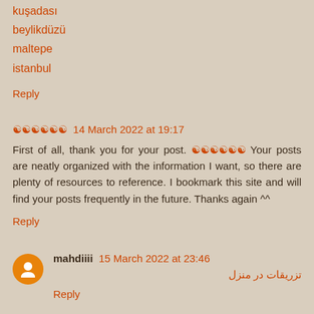kuşadası
beylikdüzü
maltepe
istanbul
Reply
🔶🔶🔶🔶🔶🔶  14 March 2022 at 19:17
First of all, thank you for your post. 🔶🔶🔶🔶🔶🔶 Your posts are neatly organized with the information I want, so there are plenty of resources to reference. I bookmark this site and will find your posts frequently in the future. Thanks again ^^
Reply
mahdiiii  15 March 2022 at 23:46
تزریقات در منزل
Reply
🔶🔶🔶🔶  5 April 2022 at 20:57